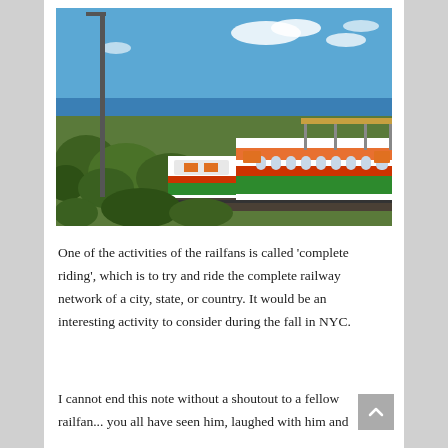[Figure (photo): A colorful train with white, green, and red livery with orange/red stripe and logo decorations, traveling along tracks surrounded by green bushes and foliage, with a blue sky and ocean visible in the background. A station canopy structure is visible on the right side.]
One of the activities of the railfans is called 'complete riding', which is to try and ride the complete railway network of a city, state, or country. It would be an interesting activity to consider during the fall in NYC.
I cannot end this note without a shoutout to a fellow railfan... you all have seen him, laughed with him and